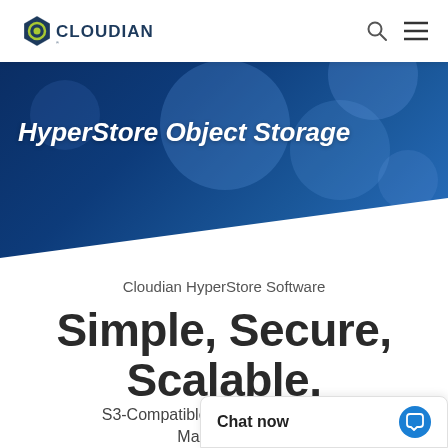[Figure (logo): Cloudian logo with hexagon icon and 'CLOUDIAN' wordmark in dark text, plus search and hamburger menu icons on the right]
[Figure (screenshot): Dark navy blue hero banner with bokeh light circles and diagonal white cut at bottom]
HyperStore Object Storage
Cloudian HyperStore Software
Simple, Secure, Scalable.
S3-Compatible, Cloud Native Data Management
Chat now